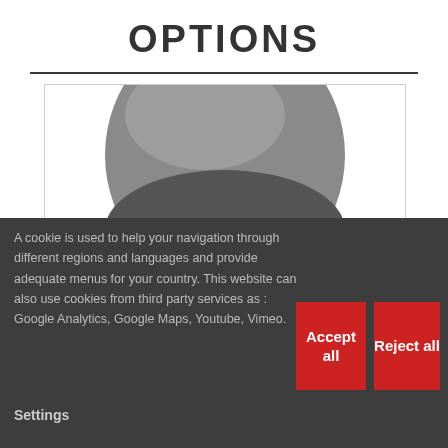OPTIONS
[Figure (photo): A metallic button or knob photographed from above, showing a round gunmetal grey object with several holes or slots near the bottom revealing gold-colored interior.]
A cookie is used to help your navigation through different regions and languages and provide adequate menus for your country. This website can also use cookies from third party services as : Google Analytics, Google Maps, Youtube, Vimeo.
Settings